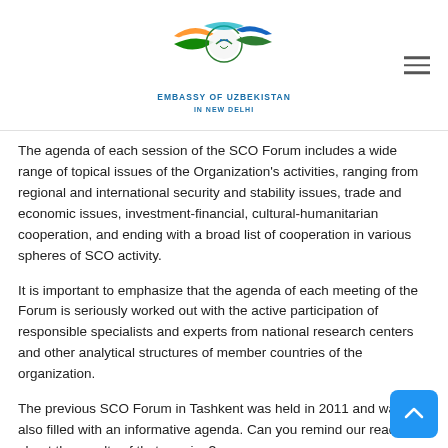Embassy of Uzbekistan in New Delhi
The agenda of each session of the SCO Forum includes a wide range of topical issues of the Organization's activities, ranging from regional and international security and stability issues, trade and economic issues, investment-financial, cultural-humanitarian cooperation, and ending with a broad list of cooperation in various spheres of SCO activity.
It is important to emphasize that the agenda of each meeting of the Forum is seriously worked out with the active participation of responsible specialists and experts from national research centers and other analytical structures of member countries of the organization.
The previous SCO Forum in Tashkent was held in 2011 and was also filled with an informative agenda. Can you remind our readers about the results of that session?
The sixth session of the Shanghai Cooperation Organization Forum was held on May 27-28, 2011, in Tashkent. It was attended by delegations of national research centers of member states, experts from SCO observer countries, representatives of the